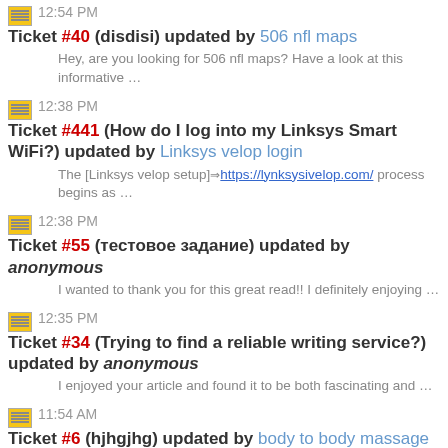12:54 PM Ticket #40 (disdisi) updated by 506 nfl maps — Hey, are you looking for 506 nfl maps? Have a look at this informative …
12:38 PM Ticket #441 (How do I log into my Linksys Smart WiFi?) updated by Linksys velop login — The [Linksys velop setup]=> https://lynksysivelop.com/ process begins as …
12:38 PM Ticket #55 (тестовое задание) updated by anonymous — I wanted to thank you for this great read!! I definitely enjoying …
12:35 PM Ticket #34 (Trying to find a reliable writing service?) updated by anonymous — I enjoyed your article and found it to be both fascinating and …
11:54 AM Ticket #6 (hjhgjhg) updated by body to body massage spa near me — Watch gorgeous women in sexy videos of Bangalore girl fucking. These …
Ticket #6 (hjhgjhg) updated by John 123 — (partially visible)